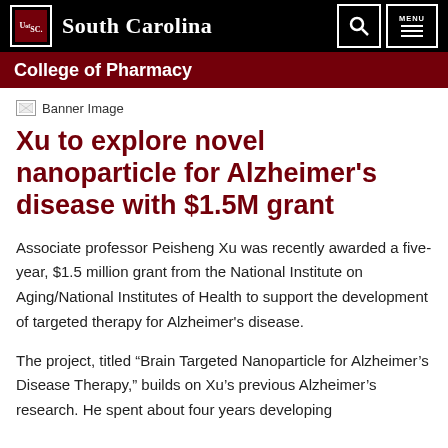University of South Carolina — College of Pharmacy
[Figure (photo): Banner Image placeholder]
Xu to explore novel nanoparticle for Alzheimer's disease with $1.5M grant
Associate professor Peisheng Xu was recently awarded a five-year, $1.5 million grant from the National Institute on Aging/National Institutes of Health to support the development of targeted therapy for Alzheimer's disease.
The project, titled “Brain Targeted Nanoparticle for Alzheimer’s Disease Therapy,” builds on Xu’s previous Alzheimer’s research. He spent about four years developing